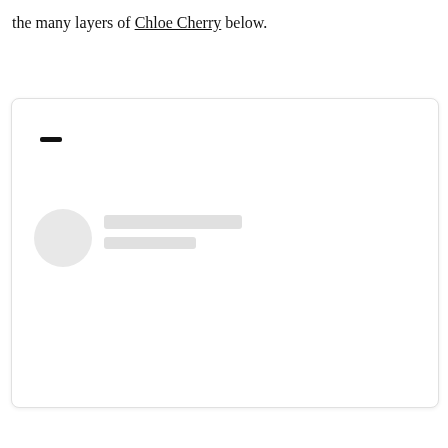the many layers of Chloe Cherry below.
[Figure (screenshot): A loading skeleton card UI element with a dash/minus icon at top left, a circular avatar placeholder on the left, and two rounded rectangle placeholder bars to the right of the avatar, all in light grey on a white rounded card with a subtle border and shadow.]